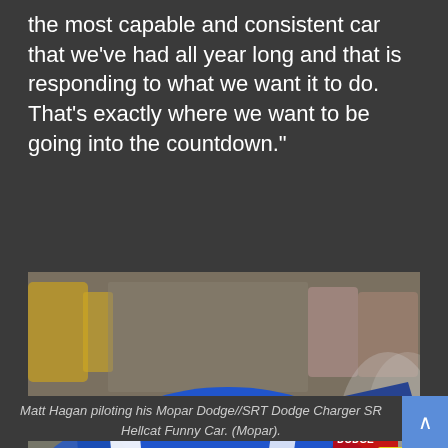the most capable and consistent car that we've had all year long and that is responding to what we want it to do. That's exactly where we want to be going into the countdown."
[Figure (photo): Matt Hagan piloting his Mopar Dodge//SRT Dodge Charger SRT Hellcat Funny Car on a drag racing track, with crowds in the background. The car is blue with white Mopar branding.]
Matt Hagan piloting his Mopar Dodge//SRT Dodge Charger SRT Hellcat Funny Car. (Mopar).